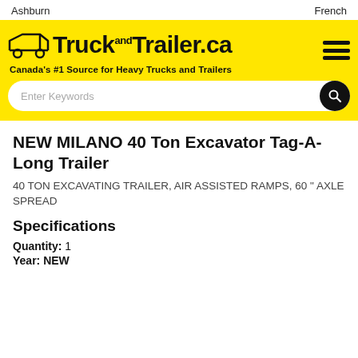Ashburn    French
[Figure (logo): TruckandTrailer.ca logo on yellow background with truck icon and tagline 'Canada's #1 Source for Heavy Trucks and Trailers']
NEW MILANO 40 Ton Excavator Tag-A-Long Trailer
40 TON EXCAVATING TRAILER, AIR ASSISTED RAMPS, 60 " AXLE SPREAD
Specifications
Quantity: 1
Year: NEW